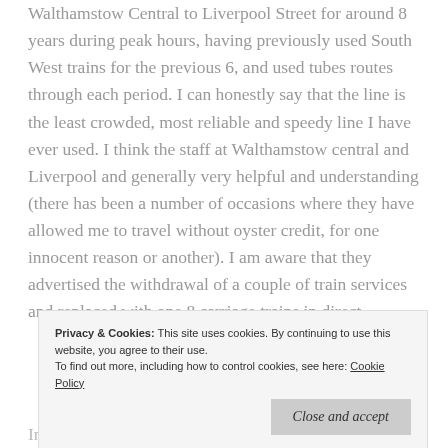Walthamstow Central to Liverpool Street for around 8 years during peak hours, having previously used South West trains for the previous 6, and used tubes routes through each period. I can honestly say that the line is the least crowded, most reliable and speedy line I have ever used. I think the staff at Walthamstow central and Liverpool and generally very helpful and understanding (there has been a number of occasions where they have allowed me to travel without oyster credit, for one innocent reason or another). I am aware that they advertised the withdrawal of a couple of train services and replaced with one 8 carriage trains in direct
Privacy & Cookies: This site uses cookies. By continuing to use this website, you agree to their use. To find out more, including how to control cookies, see here: Cookie Policy
In the spirit of fairness, I wanted to write with my own,